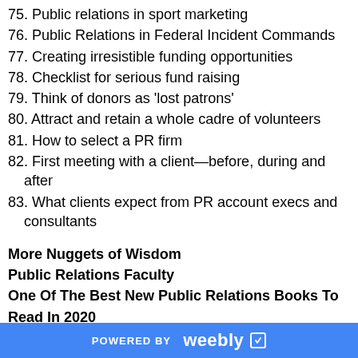75. Public relations in sport marketing
76. Public Relations in Federal Incident Commands
77. Creating irresistible funding opportunities
78. Checklist for serious fund raising
79. Think of donors as 'lost patrons'
80. Attract and retain a whole cadre of volunteers
81. How to select a PR firm
82. First meeting with a client—before, during and after
83. What clients expect from PR account execs and consultants
More Nuggets of Wisdom
Public Relations Faculty
One Of The Best New Public Relations Books To Read In 2020
NEW 3rd EDITION Writing Winning Proposals:
POWERED BY weebly